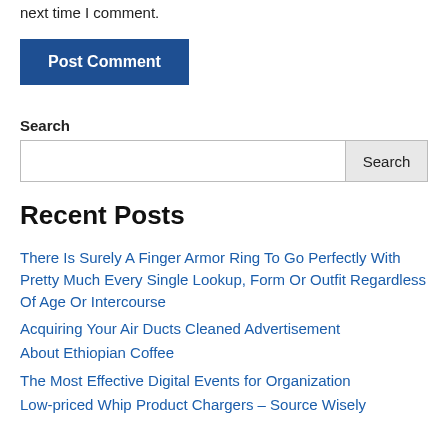next time I comment.
Post Comment
Search
Recent Posts
There Is Surely A Finger Armor Ring To Go Perfectly With Pretty Much Every Single Lookup, Form Or Outfit Regardless Of Age Or Intercourse
Acquiring Your Air Ducts Cleaned Advertisement
About Ethiopian Coffee
The Most Effective Digital Events for Organization
Low-priced Whip Product Chargers – Source Wisely